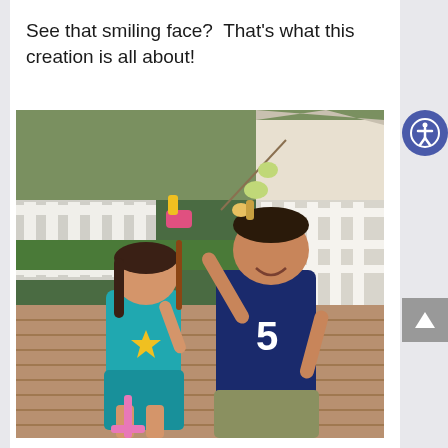See that smiling face?  That's what this creation is all about!
[Figure (photo): Two children standing on a wooden deck holding handmade craft creations. A girl in a teal shirt on the left holds a colorful craft toy, and a boy in a navy sports jersey on the right holds up a string of foam/marshmallow items, smiling. A white railing and green lawn are visible in the background.]